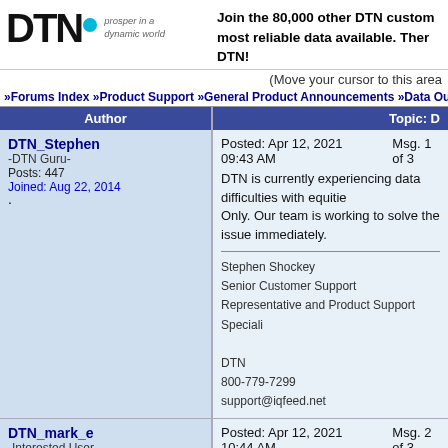[Figure (logo): DTN logo with blue circle dot and tagline 'prosper in a dynamic world']
Join the 80,000 other DTN customers using the most reliable data available. There's a reason it's DTN!
(Move your cursor to this area
»Forums Index »Product Support »General Product Announcements »Data Outage - IQ Feed
| Author | Topic: |
| --- | --- |
| DTN_Stephen
-DTN Guru-
Posts: 447
Joined: Aug 22, 2014 | Posted: Apr 12, 2021 09:43 AM   Msg. 1 of 3
DTN is currently experiencing data difficulties with equities Only. Our team is working to solve the issue immediately.
Stephen Shockey
Senior Customer Support Representative and Product Support Speciali
DTN
800-779-7299
support@iqfeed.net |
| DTN_mark_e
-Interested User-
Posts: 38
Joined: Sep 25, 2014 | Posted: Apr 12, 2021 10:44 AM   Msg. 2 of 3
The issue with the IQ equity data has been identified and r
Trading Markets Customer Service
800-779-7299 (DTNIQ & IQFEED)
www.dtn.com/trading | http://www.iqfeed.net |